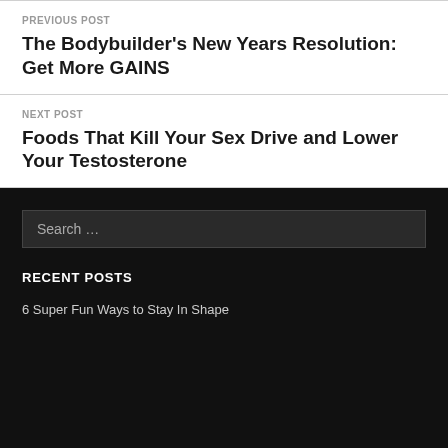PREVIOUS POST
The Bodybuilder's New Years Resolution: Get More GAINS
NEXT POST
Foods That Kill Your Sex Drive and Lower Your Testosterone
Search …
RECENT POSTS
6 Super Fun Ways to Stay In Shape